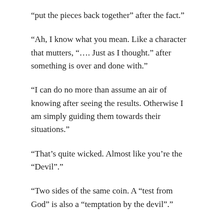“put the pieces back together” after the fact.”
“Ah, I know what you mean. Like a character that mutters, “…. Just as I thought.” after something is over and done with.”
“I can do no more than assume an air of knowing after seeing the results. Otherwise I am simply guiding them towards their situations.”
“That’s quite wicked. Almost like you’re the “Devil”.”
“Two sides of the same coin. A “test from God” is also a “temptation by the devil”.”
If it can be overcome, then it is a “test,” and if not, a